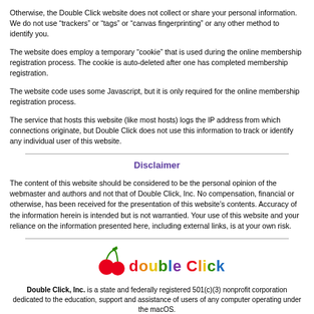Otherwise, the Double Click website does not collect or share your personal information. We do not use “trackers” or “tags” or “canvas fingerprinting” or any other method to identify you.
The website does employ a temporary “cookie” that is used during the online membership registration process. The cookie is auto-deleted after one has completed membership registration.
The website code uses some Javascript, but it is only required for the online membership registration process.
The service that hosts this website (like most hosts) logs the IP address from which connections originate, but Double Click does not use this information to track or identify any individual user of this website.
Disclaimer
The content of this website should be considered to be the personal opinion of the webmaster and authors and not that of Double Click, Inc. No compensation, financial or otherwise, has been received for the presentation of this website’s contents. Accuracy of the information herein is intended but is not warrantied. Your use of this website and your reliance on the information presented here, including external links, is at your own risk.
[Figure (logo): Double Click logo with colorful text and cherry icon]
Double Click, Inc. is a state and federally registered 501(c)(3) nonprofit corporation dedicated to the education, support and assistance of users of any computer operating under the macOS.
All regular Double Click meetings are free and open to the public.